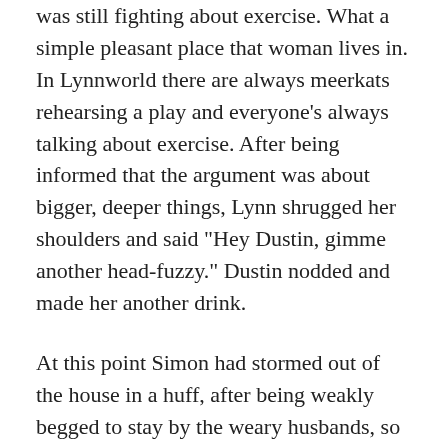was still fighting about exercise. What a simple pleasant place that woman lives in. In Lynnworld there are always meerkats rehearsing a play and everyone's always talking about exercise. After being informed that the argument was about bigger, deeper things, Lynn shrugged her shoulders and said "Hey Dustin, gimme another head-fuzzy." Dustin nodded and made her another drink.
At this point Simon had stormed out of the house in a huff, after being weakly begged to stay by the weary husbands, so drunken Tamra had to go find him. He was just sitting outside on the stoop, throwing pebbles at the ground and cursing stupid mean old girls. Tamra put on her best serious face and said "Babybits, whassamatter why are you so sad?" And Simon informed her that he